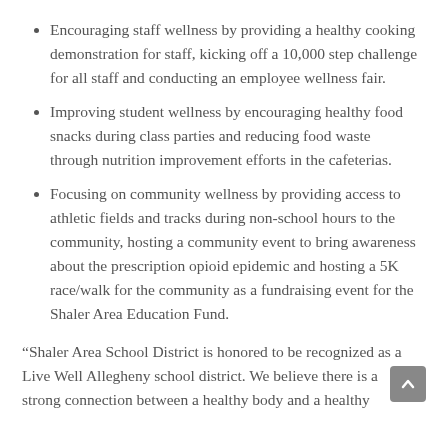Encouraging staff wellness by providing a healthy cooking demonstration for staff, kicking off a 10,000 step challenge for all staff and conducting an employee wellness fair.
Improving student wellness by encouraging healthy food snacks during class parties and reducing food waste through nutrition improvement efforts in the cafeterias.
Focusing on community wellness by providing access to athletic fields and tracks during non-school hours to the community, hosting a community event to bring awareness about the prescription opioid epidemic and hosting a 5K race/walk for the community as a fundraising event for the Shaler Area Education Fund.
“Shaler Area School District is honored to be recognized as a Live Well Allegheny school district. We believe there is a strong connection between a healthy body and a healthy